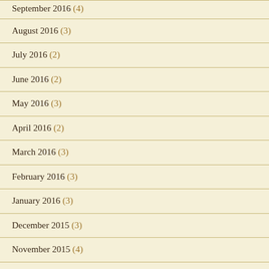September 2016 (4)
August 2016 (3)
July 2016 (2)
June 2016 (2)
May 2016 (3)
April 2016 (2)
March 2016 (3)
February 2016 (3)
January 2016 (3)
December 2015 (3)
November 2015 (4)
October 2015 (5)
September 2015 (1)